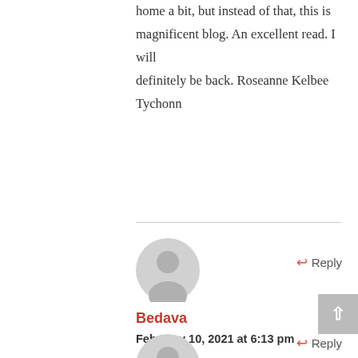home a bit, but instead of that, this is magnificent blog. An excellent read. I will definitely be back. Roseanne Kelbee Tychonn
[Figure (illustration): Gray default user avatar circle icon for comment]
Reply
Bedava
February 10, 2021 at 6:13 pm
Some truly excellent posts on this website , thankyou for contribution. Grier Allyn Cavan
[Figure (illustration): Gray default user avatar circle icon for comment]
Reply